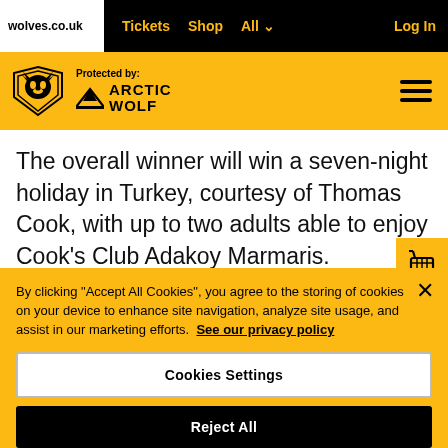wolves.co.uk | Tickets | Shop | All | Log In
[Figure (logo): Wolverhampton Wanderers wolf shield logo and Arctic Wolf protection logo on yellow header bar with hamburger menu]
The overall winner will win a seven-night holiday in Turkey, courtesy of Thomas Cook, with up to two adults able to enjoy Cook's Club Adakoy Marmaris.
By clicking "Accept All Cookies", you agree to the storing of cookies on your device to enhance site navigation, analyze site usage, and assist in our marketing efforts. See our privacy policy
Cookies Settings
Reject All
Accept All Cookies